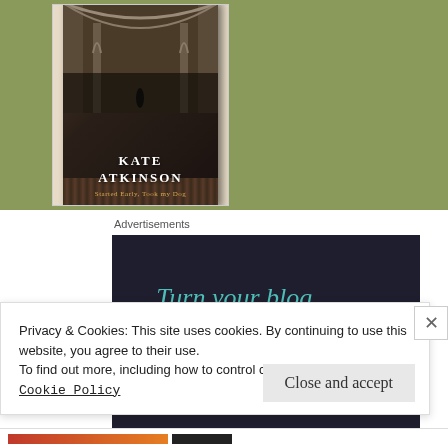[Figure (photo): Book cover of Kate Atkinson novel with gothic arch corridor background, dark tones]
Advertisements
[Figure (infographic): Dark advertisement banner with teal/cyan text reading: Turn your blog into a money-making online course.]
Privacy & Cookies: This site uses cookies. By continuing to use this website, you agree to their use.
To find out more, including how to control cookies, see here:
Cookie Policy
Close and accept